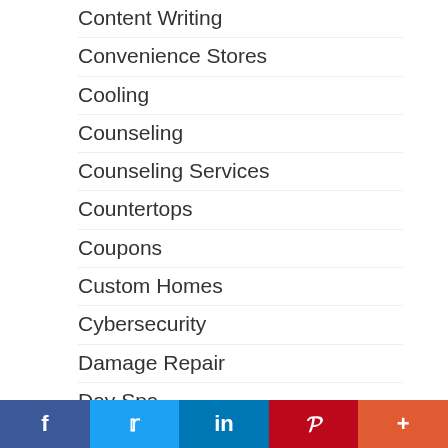Content Writing
Convenience Stores
Cooling
Counseling
Counseling Services
Countertops
Coupons
Custom Homes
Cybersecurity
Damage Repair
Day Spa
Daycare
Decks
Decor